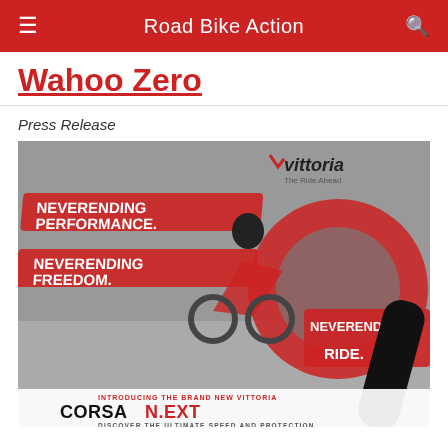Road Bike Action
Wahoo Zero
Press Release
[Figure (illustration): Vittoria Corsa N.EXT tire advertisement showing a cyclist riding a road bike with text: NEVERENDING PERFORMANCE. NEVERENDING FREEDOM. NEVERENDING RIDE. Introducing the brand new Vittoria Corsa N.EXT — Discover the ultimate speed and protection.]